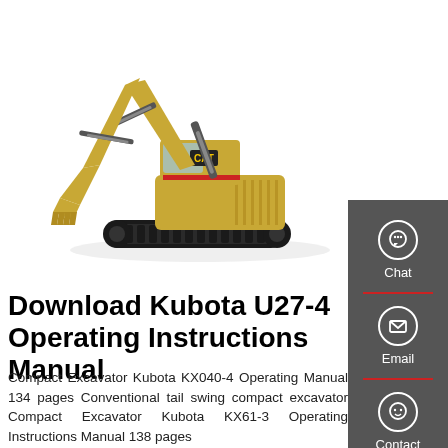[Figure (photo): A yellow CAT compact excavator photographed on a white background, facing left with boom and bucket extended downward.]
Download Kubota U27-4 Operating Instructions Manual
Compact Excavator Kubota KX040-4 Operating Manual 134 pages Conventional tail swing compact excavator Compact Excavator Kubota KX61-3 Operating Instructions Manual 138 pages